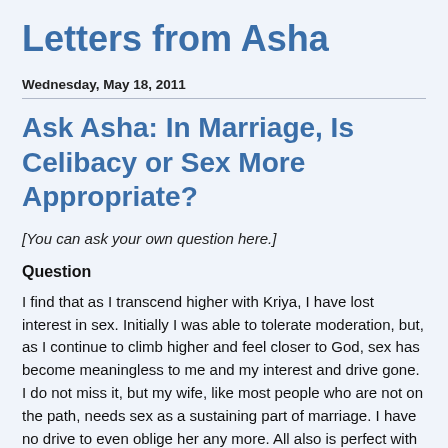Letters from Asha
Wednesday, May 18, 2011
Ask Asha: In Marriage, Is Celibacy or Sex More Appropriate?
[You can ask your own question here.]
Question
I find that as I transcend higher with Kriya, I have lost interest in sex. Initially I was able to tolerate moderation, but, as I continue to climb higher and feel closer to God, sex has become meaningless to me and my interest and drive gone. I do not miss it, but my wife, like most people who are not on the path, needs sex as a sustaining part of marriage. I have no drive to even oblige her any more. All also is perfect with